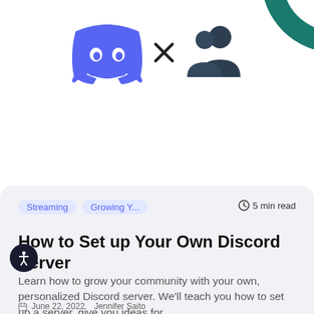[Figure (illustration): Discord logo (blue robot face) times sign and people/community icon on white background with teal arc in top-right corner]
Streaming   Growing Y...   🕐 5 min read
How to Set up Your Own Discord Server
Learn how to grow your community with your own, personalized Discord server. We'll teach you how to set up a server, give you ideas for...
June 22, 2022   Jennifer Saito